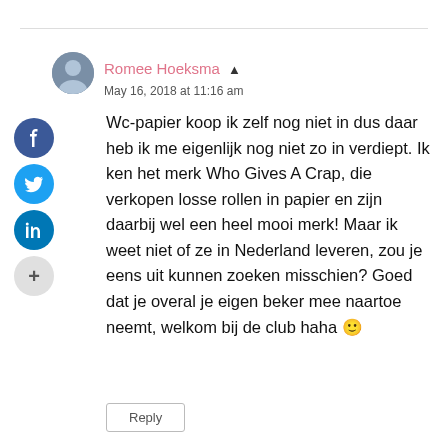Romee Hoeksma
May 16, 2018 at 11:16 am
Wc-papier koop ik zelf nog niet in dus daar heb ik me eigenlijk nog niet zo in verdiept. Ik ken het merk Who Gives A Crap, die verkopen losse rollen in papier en zijn daarbij wel een heel mooi merk! Maar ik weet niet of ze in Nederland leveren, zou je eens uit kunnen zoeken misschien? Goed dat je overal je eigen beker mee naartoe neemt, welkom bij de club haha 🙂
Reply